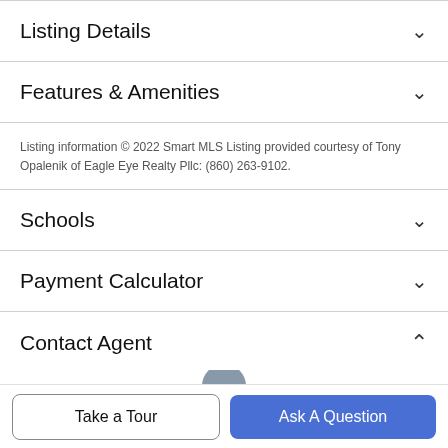Listing Details
Features & Amenities
Listing information © 2022 Smart MLS Listing provided courtesy of Tony Opalenik of Eagle Eye Realty Pllc: (860) 263-9102.
Schools
Payment Calculator
Contact Agent
Take a Tour
Ask A Question